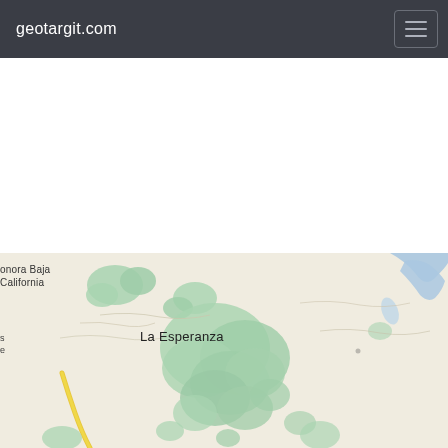geotargit.com
[Figure (map): Map showing the border area of Sonora, Baja California (Mexico) with the locality La Esperanza labeled. The map has a light beige background with green vegetation patches, a yellow road running along the left side, and a blue water body in the upper right corner. Text labels visible: 'onora Baja California' (partially cut off on left edge), 'La Esperanza', and partial labels 's' and 'e' on the left edge.]